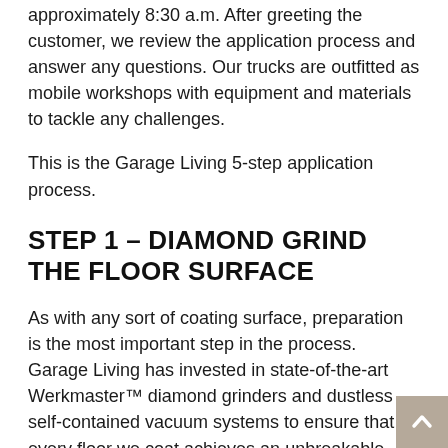approximately 8:30 a.m. After greeting the customer, we review the application process and answer any questions. Our trucks are outfitted as mobile workshops with equipment and materials to tackle any challenges.
This is the Garage Living 5-step application process.
STEP 1 – DIAMOND GRIND THE FLOOR SURFACE
As with any sort of coating surface, preparation is the most important step in the process. Garage Living has invested in state-of-the-art Werkmaster™ diamond grinders and dustless self-contained vacuum systems to ensure that every floor we coat achieves an unbreakable mechanical bond to the substrate. After unloading the